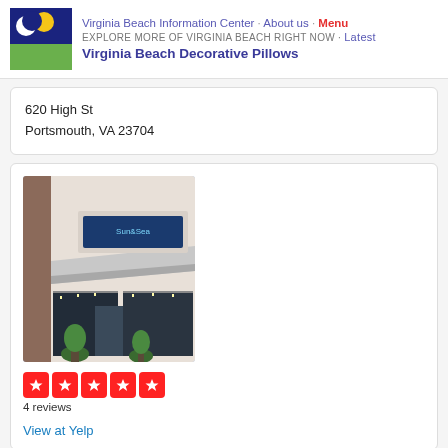Virginia Beach Information Center · About us · Menu
EXPLORE MORE OF VIRGINIA BEACH RIGHT NOW · Latest
Virginia Beach Decorative Pillows
620 High St
Portsmouth, VA 23704
[Figure (photo): Exterior photo of a retail store with a white awning and blue sign reading the store name, with large windows and potted plants at the entrance.]
4 reviews
View at Yelp